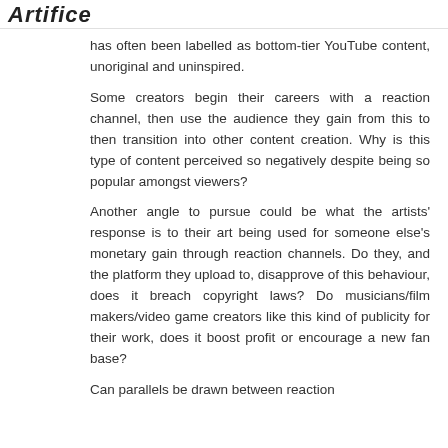Artifice
has often been labelled as bottom-tier YouTube content, unoriginal and uninspired. Some creators begin their careers with a reaction channel, then use the audience they gain from this to then transition into other content creation. Why is this type of content perceived so negatively despite being so popular amongst viewers? Another angle to pursue could be what the artists' response is to their art being used for someone else's monetary gain through reaction channels. Do they, and the platform they upload to, disapprove of this behaviour, does it breach copyright laws? Do musicians/film makers/video game creators like this kind of publicity for their work, does it boost profit or encourage a new fan base?
Can parallels be drawn between reaction